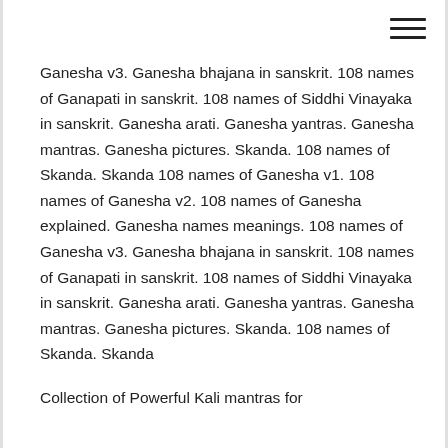[Figure (other): Hamburger menu icon (three horizontal lines) in top right corner]
Ganesha v3. Ganesha bhajana in sanskrit. 108 names of Ganapati in sanskrit. 108 names of Siddhi Vinayaka in sanskrit. Ganesha arati. Ganesha yantras. Ganesha mantras. Ganesha pictures. Skanda. 108 names of Skanda. Skanda 108 names of Ganesha v1. 108 names of Ganesha v2. 108 names of Ganesha explained. Ganesha names meanings. 108 names of Ganesha v3. Ganesha bhajana in sanskrit. 108 names of Ganapati in sanskrit. 108 names of Siddhi Vinayaka in sanskrit. Ganesha arati. Ganesha yantras. Ganesha mantras. Ganesha pictures. Skanda. 108 names of Skanda. Skanda
Collection of Powerful Kali mantras for